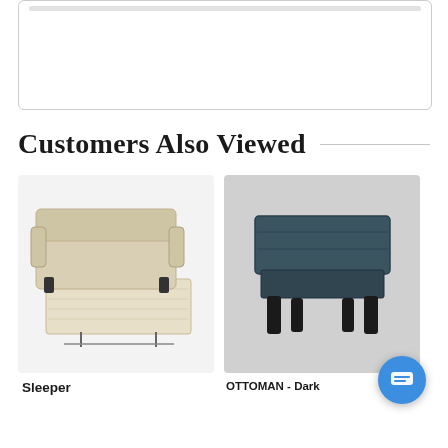[Figure (other): Top white rounded-corner box with a gray bar at top, likely a product review or content card area]
Customers Also Viewed
[Figure (photo): Beige/cream sleeper sofa with pull-out mattress extended, shown on white background]
Sleeper
[Figure (photo): Dark teal/slate colored ottoman with wooden legs, shown on gray background]
OTTOMAN - Dark